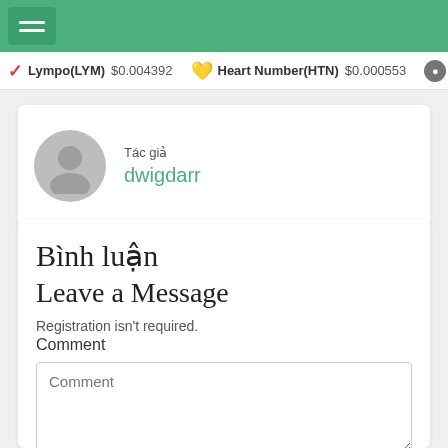Navigation bar with hamburger menu
Lympo(LYM) $0.004392   Heart Number(HTN) $0.000553
Tác giả
dwigdarr
Bình luận
Leave a Message
Registration isn't required.
Comment
Name